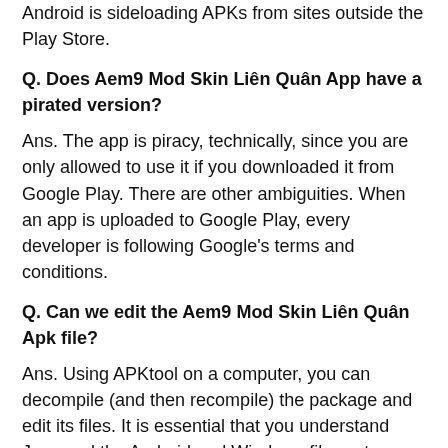Android is sideloading APKs from sites outside the Play Store.
Q. Does Aem9 Mod Skin Liên Quân App have a pirated version?
Ans. The app is piracy, technically, since you are only allowed to use it if you downloaded it from Google Play. There are other ambiguities. When an app is uploaded to Google Play, every developer is following Google's terms and conditions.
Q. Can we edit the Aem9 Mod Skin Liên Quân Apk file?
Ans. Using APKtool on a computer, you can decompile (and then recompile) the package and edit its files. It is essential that you understand Java and the Android and Windows file systems before editing an APK file. Only advanced users should attempt this.